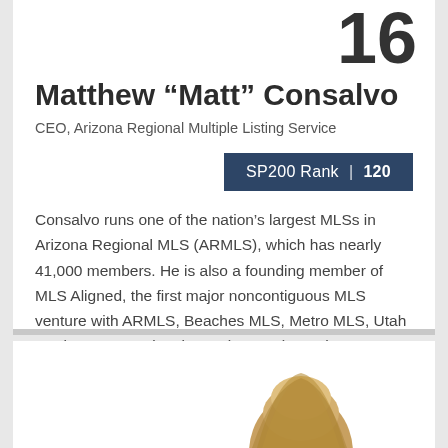16
Matthew “Matt” Consalvo
CEO, Arizona Regional Multiple Listing Service
SP200 Rank  |  120
Consalvo runs one of the nation’s largest MLSs in Arizona Regional MLS (ARMLS), which has nearly 41,000 members. He is also a founding member of MLS Aligned, the first major noncontiguous MLS venture with ARMLS, Beaches MLS, Metro MLS, Utah Real Estate, Regional MLS (Oregon), Northern Nevada Regional MLS and MLS Listings (California).
[Figure (photo): Partial view of a person's head with blonde hair at the bottom of the page]